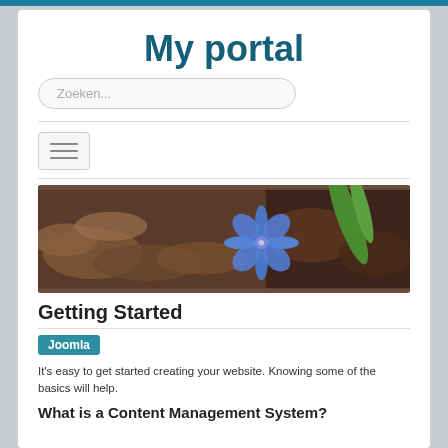My portal
[Figure (screenshot): Search bar with placeholder text 'Zoeken...' and a hamburger menu button below a divider]
[Figure (photo): Close-up photograph of a blue flower among dry brown leaves with a green stem]
Getting Started
Joomla
It's easy to get started creating your website. Knowing some of the basics will help.
What is a Content Management System?